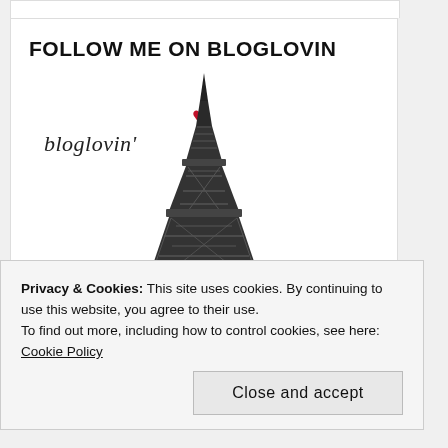FOLLOW ME ON BLOGLOVIN
[Figure (illustration): Bloglovin logo: stylized text 'bloglovin'' in italic with a red heart above, overlaid on a detailed black and white illustration of the Eiffel Tower]
Privacy & Cookies: This site uses cookies. By continuing to use this website, you agree to their use.
To find out more, including how to control cookies, see here: Cookie Policy
Close and accept